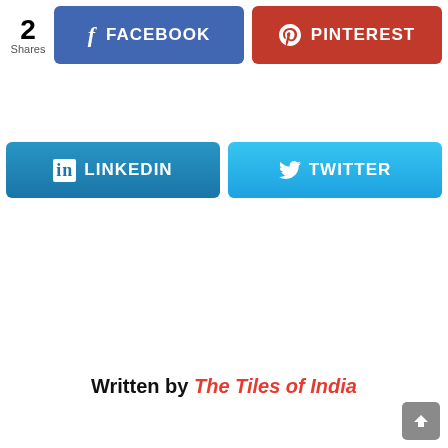[Figure (screenshot): Social share buttons: Facebook (blue), Pinterest (red), LinkedIn (blue gradient), Twitter (cyan gradient), with share count of 2]
[Figure (infographic): Three emoji reaction faces partially visible: love/laugh, OMG/shocked, WTF/expressionless]
[Figure (infographic): Three reaction count boxes each showing 0 with labels LOVE, OMG, WTF]
Written by The Tiles of India